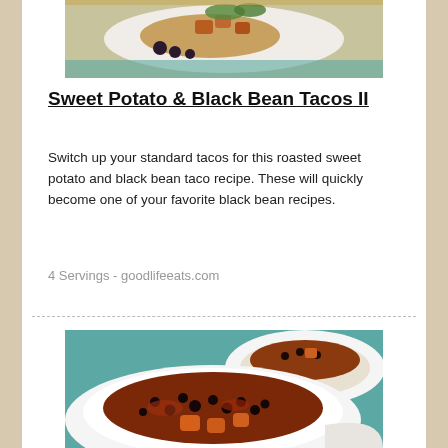[Figure (photo): Photo of a plate with roasted sweet potato and black bean tacos topped with greens and olives on a wooden board]
Sweet Potato & Black Bean Tacos II
Switch up your standard tacos for this roasted sweet potato and black bean taco recipe. These will quickly become one of your favorite black bean recipes.
4 Servings - goodlifeeats.com
[Figure (photo): Photo of a white bowl filled with sweet potato and black bean chili, with another bowl in the background on a teal surface]